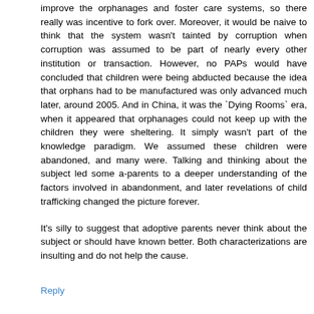improve the orphanages and foster care systems, so there really was incentive to fork over. Moreover, it would be naive to think that the system wasn't tainted by corruption when corruption was assumed to be part of nearly every other institution or transaction. However, no PAPs would have concluded that children were being abducted because the idea that orphans had to be manufactured was only advanced much later, around 2005. And in China, it was the `Dying Rooms` era, when it appeared that orphanages could not keep up with the children they were sheltering. It simply wasn't part of the knowledge paradigm. We assumed these children were abandoned, and many were. Talking and thinking about the subject led some a-parents to a deeper understanding of the factors involved in abandonment, and later revelations of child trafficking changed the picture forever.
It's silly to suggest that adoptive parents never think about the subject or should have known better. Both characterizations are insulting and do not help the cause.
Reply